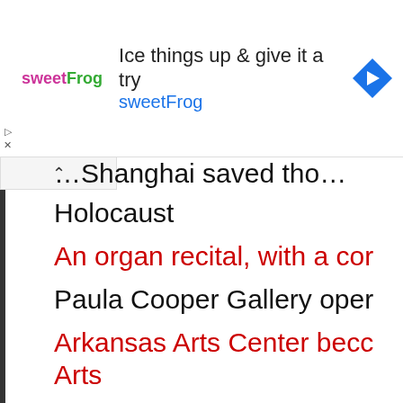[Figure (screenshot): Advertisement banner for sweetFrog frozen yogurt. Shows sweetFrog logo on left, headline 'Ice things up & give it a try' and 'sweetFrog' in blue text, and a blue diamond navigation arrow icon on the right.]
on Shanghai saved those Holocaust
An organ recital, with a co…
Paula Cooper Gallery ope…
Arkansas Arts Center beco… Arts
Moss Arts Center's newest beauty and vulnerability